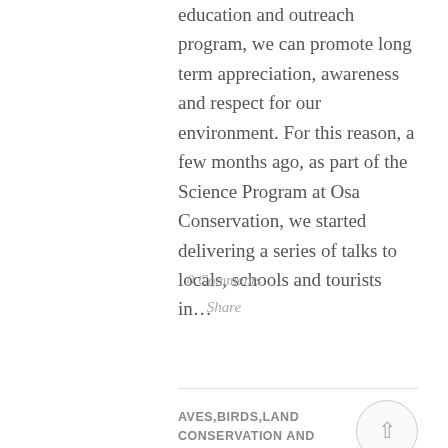education and outreach program, we can promote long term appreciation, awareness and respect for our environment. For this reason, a few months ago, as part of the Science Program at Osa Conservation, we started delivering a series of talks to locals, schools and tourists in…
0 Comments
Share
AVES,BIRDS,LAND CONSERVATION AND FOREST RESTORATION,UNCATEGORIZED, VOLUNTEERS AND VISITORS / 13.09.2013